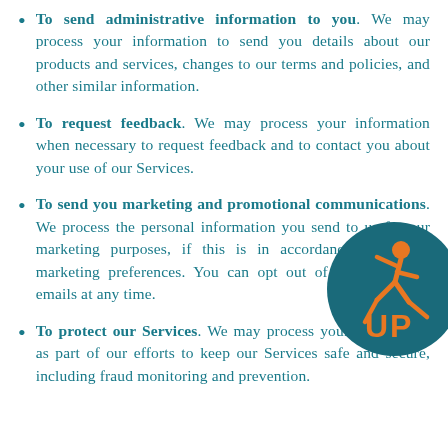To send administrative information to you. We may process your information to send you details about our products and services, changes to our terms and policies, and other similar information.
To request feedback. We may process your information when necessary to request feedback and to contact you about your use of our Services.
To send you marketing and promotional communications. We process the personal information you send to us for our marketing purposes, if this is in accordance with your marketing preferences. You can opt out of our marketing emails at any time.
To protect our Services. We may process your information as part of our efforts to keep our Services safe and secure, including fraud monitoring and prevention.
[Figure (logo): Circular dark teal logo with an orange running figure and the text 'UP' in orange letters]